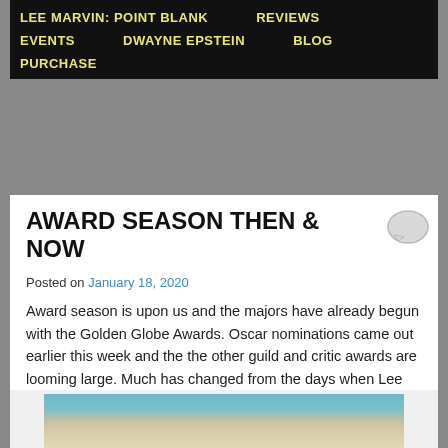LEE MARVIN: POINT BLANK   REVIEWS   EVENTS   DWAYNE EPSTEIN   BLOG   PURCHASE
AWARD SEASON THEN & NOW
Posted on January 18, 2020
Award season is upon us and the majors have already begun with the Golden Globe Awards. Oscar nominations came out earlier this week and the the other guild and critic awards are looming large. Much has changed from the days when Lee Marvin won his only Oscar for Cat Ballou back in the mid-60s.
[Figure (photo): Partial photo of what appears to be an interior room with curtains and ceiling, visible at the bottom of the page.]